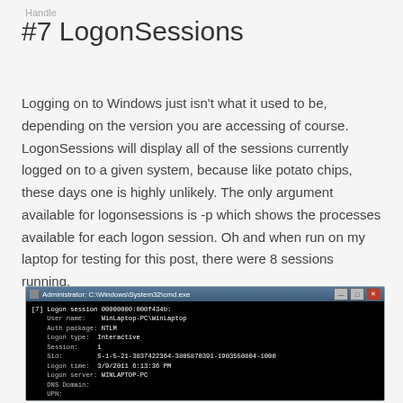Handle
#7 LogonSessions
Logging on to Windows just isn’t what it used to be, depending on the version you are accessing of course. LogonSessions will display all of the sessions currently logged on to a given system, because like potato chips, these days one is highly unlikely.  The only argument available for logonsessions is -p which shows the processes available for each logon session.  Oh and when run on my laptop for testing for this post, there were 8 sessions running.
[Figure (screenshot): Command prompt window showing Administrator: C:\Windows\System32\cmd.exe with LogonSessions output displaying session [7] with user WinLaptop-PC\WinLaptop, Auth package NTLM, Logon type Interactive, Session 1, Sid S-1-5-21-3837422364-3805870391-1903550804-1000, Logon time 3/9/2011 6:13:36 PM, Logon server WINLAPTOP-PC, DNS Domain and UPN fields, followed by command prompt C:\Users\Derek\sysinternals\LogonSessions>logonsessions // and partial line Logonsessions v1.21]